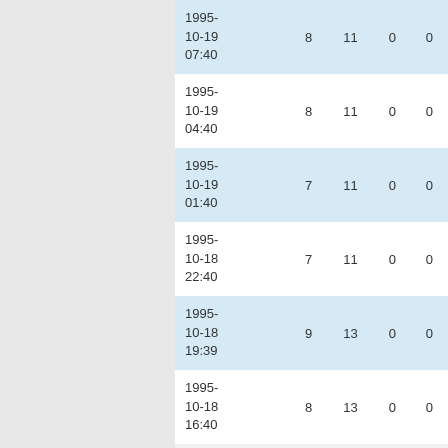| 1995-10-19 07:40 | 8 | 11 | 0 | 0 |
| 1995-10-19 04:40 | 8 | 11 | 0 | 0 |
| 1995-10-19 01:40 | 7 | 11 | 0 | 0 |
| 1995-10-18 22:40 | 7 | 11 | 0 | 0 |
| 1995-10-18 19:39 | 9 | 13 | 0 | 0 |
| 1995-10-18 16:40 | 8 | 13 | 0 | 0 |